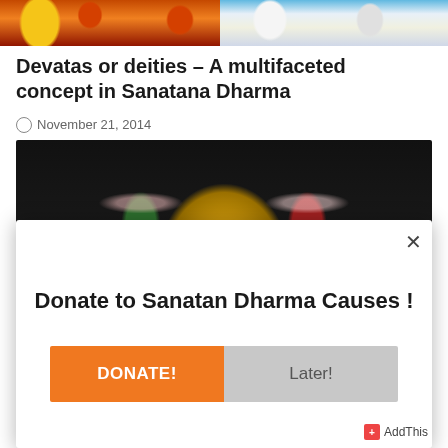[Figure (photo): Two colorful religious/deity images side by side at the top of the page]
Devatas or deities - A multifaceted concept in Sanatana Dharma
November 21, 2014
[Figure (photo): Close-up photograph of a deity decorated with flower garlands and golden ornaments against a dark background]
Donate to Sanatan Dharma Causes !
DONATE!
Later!
AddThis